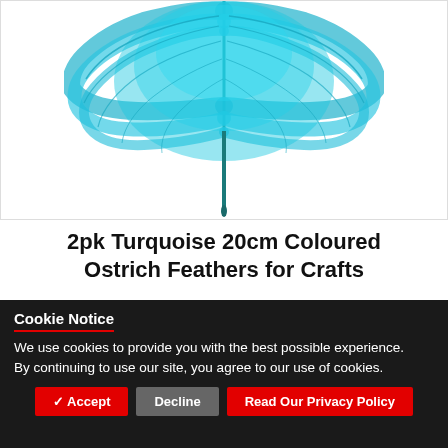[Figure (photo): Turquoise ostrich feather, large fluffy fan-shaped feather against a white background, showing the quill and barbs in teal/turquoise color.]
2pk Turquoise 20cm Coloured Ostrich Feathers for Crafts
Product Code: HF/F-3190037
£4.22
Cookie Notice
We use cookies to provide you with the best possible experience. By continuing to use our site, you agree to our use of cookies.